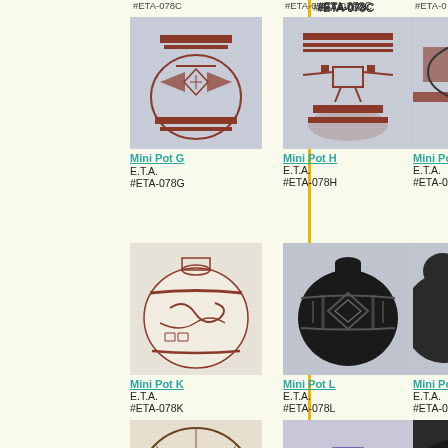#ETA-078C
#ETA-078D
#ETA-0...
[Figure (photo): Needlepoint canvas showing Native American pottery design Mini Pot G with geometric eagle/bird and diamond patterns in dark red on cream background]
Mini Pot G
E.T.A.
#ETA-078G
[Figure (photo): Needlepoint canvas showing Native American pottery design Mini Pot H with bird/thunderbird figure in dark red/brown on cream background]
Mini Pot H
E.T.A.
#ETA-078H
[Figure (photo): Needlepoint canvas showing Native American pottery design Mini Pot (partially visible, cut off at right edge)]
Mini Po...
E.T.A.
#ETA-0...
[Figure (photo): Needlepoint canvas showing Native American pottery design Mini Pot K with swirling serpent/dragon design in red on cream round pot]
Mini Pot K
E.T.A.
#ETA-078K
[Figure (photo): Needlepoint canvas showing Native American pottery design Mini Pot L with black pot and geometric diamond/stripe pattern]
Mini Pot L
E.T.A.
#ETA-078L
[Figure (photo): Needlepoint canvas showing Native American pottery design Mini Pot (partially visible, cut off at right edge) dark jug with geometric patterns]
Mini Po...
E.T.A.
#ETA-0...
[Figure (photo): Needlepoint canvas showing Native American pottery design at bottom row, round basket/plate with figure design in brown tones]
[Figure (photo): Needlepoint canvas showing Native American pottery design at bottom row, vase with geometric chevron/diamond pattern in purple and earth tones]
[Figure (photo): Needlepoint canvas partially visible at bottom right, dark vessel]